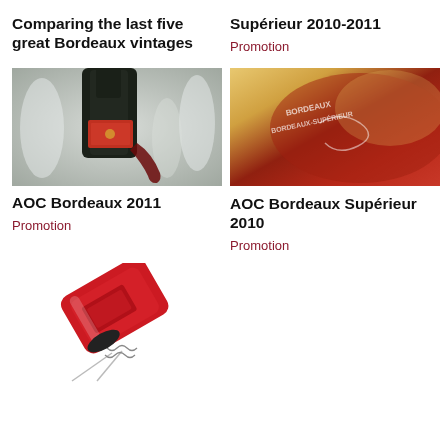Comparing the last five great Bordeaux vintages
Supérieur 2010-2011
Promotion
[Figure (photo): Close-up of a Bordeaux wine bottle being poured, with wine glasses in the background]
[Figure (photo): Close-up of a Bordeaux Supérieur wine bottle label with engraved text]
AOC Bordeaux 2011
Promotion
AOC Bordeaux Supérieur 2010
Promotion
[Figure (photo): Red wine bottle being opened with a corkscrew, tilted diagonally]